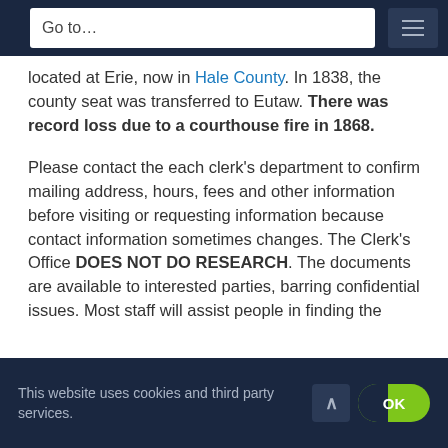Go to...
located at Erie, now in Hale County. In 1838, the county seat was transferred to Eutaw. There was record loss due to a courthouse fire in 1868.

Please contact the each clerk's department to confirm mailing address, hours, fees and other information before visiting or requesting information because contact information sometimes changes. The Clerk's Office DOES NOT DO RESEARCH. The documents are available to interested parties, barring confidential issues. Most staff will assist people in finding the
This website uses cookies and third party services.